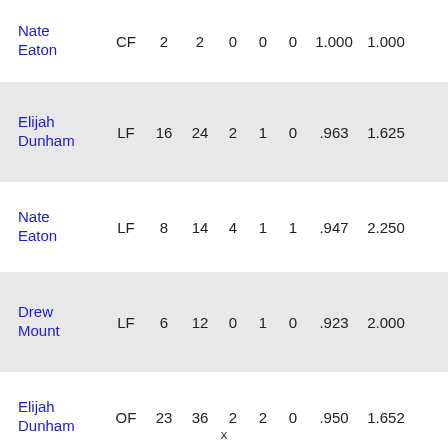| Player | Pos | G | PO | A | E | DP | Fld% | RF/G |
| --- | --- | --- | --- | --- | --- | --- | --- | --- |
| Nate Eaton | CF | 2 | 2 | 0 | 0 | 0 | 1.000 | 1.000 |
| Elijah Dunham | LF | 16 | 24 | 2 | 1 | 0 | .963 | 1.625 |
| Nate Eaton | LF | 8 | 14 | 4 | 1 | 1 | .947 | 2.250 |
| Drew Mount | LF | 6 | 12 | 0 | 1 | 0 | .923 | 2.000 |
| Elijah Dunham | OF | 23 | 36 | 2 | 2 | 0 | .950 | 1.652 |
| Seuly Matias | OF | 22 | 30 | 2 | 1 | 0 | .970 | 1.455 |
x